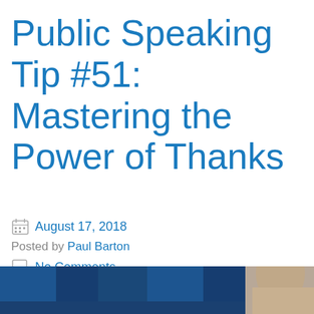Public Speaking Tip #51: Mastering the Power of Thanks
August 17, 2018
Posted by Paul Barton
No Comments
[Figure (photo): A person in a blue shirt viewed from behind, against a background of blue theatre/auditorium seats]